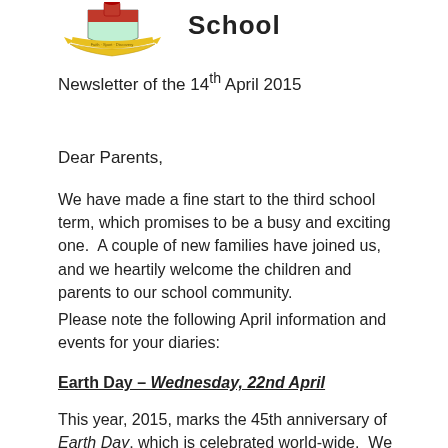[Figure (logo): School crest/logo with shield, banner and decorative elements in red, yellow and green]
School
Newsletter of the 14th April 2015
Dear Parents,
We have made a fine start to the third school term, which promises to be a busy and exciting one.  A couple of new families have joined us, and we heartily welcome the children and parents to our school community.
Please note the following April information and events for your diaries:
Earth Day – Wednesday, 22nd April
This year, 2015, marks the 45th anniversary of Earth Day, which is celebrated world-wide.  We will observe the day in school with poetry readings, environmental activities, crafts, displays